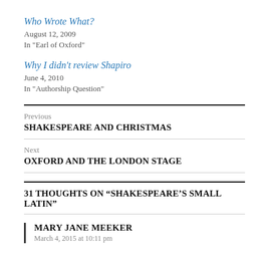Who Wrote What?
August 12, 2009
In "Earl of Oxford"
Why I didn't review Shapiro
June 4, 2010
In "Authorship Question"
Previous
SHAKESPEARE AND CHRISTMAS
Next
OXFORD AND THE LONDON STAGE
31 THOUGHTS ON “SHAKESPEARE’S SMALL LATIN”
MARY JANE MEEKER
March 4, 2015 at 10:11 pm